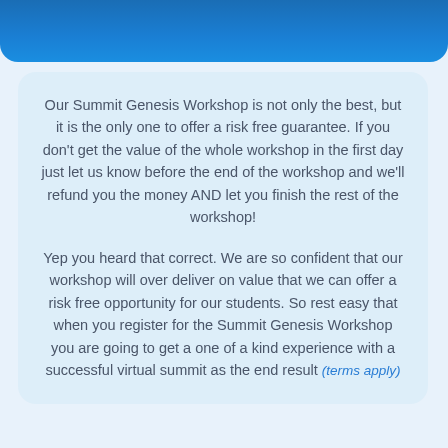[Figure (other): Blue rounded banner/header bar at the top of the page]
Our Summit Genesis Workshop is not only the best, but it is the only one to offer a risk free guarantee. If you don't get the value of the whole workshop in the first day just let us know before the end of the workshop and we'll refund you the money AND let you finish the rest of the workshop!
Yep you heard that correct. We are so confident that our workshop will over deliver on value that we can offer a risk free opportunity for our students. So rest easy that when you register for the Summit Genesis Workshop you are going to get a one of a kind experience with a successful virtual summit as the end result (terms apply)